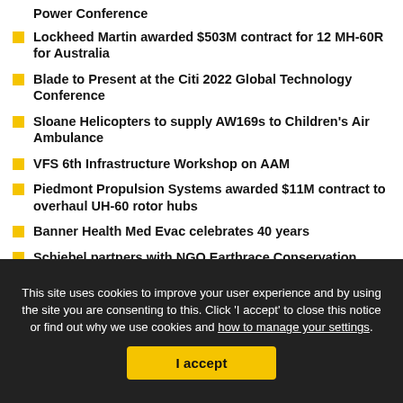Power Conference
Lockheed Martin awarded $503M contract for 12 MH-60R for Australia
Blade to Present at the Citi 2022 Global Technology Conference
Sloane Helicopters to supply AW169s to Children's Air Ambulance
VFS 6th Infrastructure Workshop on AAM
Piedmont Propulsion Systems awarded $11M contract to overhaul UH-60 rotor hubs
Banner Health Med Evac celebrates 40 years
Schiebel partners with NGO Earthrace Conservation
ASTM International publishes standards for vertiport development
Korea – MintAir sign LoI for 40 eVTOL aircraft from Jaunt
This site uses cookies to improve your user experience and by using the site you are consenting to this. Click 'I accept' to close this notice or find out why we use cookies and how to manage your settings.
I accept